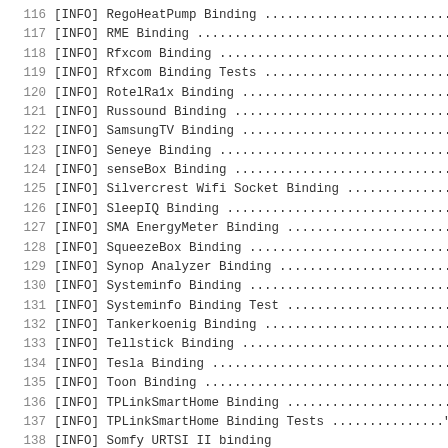116   [INFO] RegoHeatPump Binding .............................
117   [INFO] RME Binding ......................................
118   [INFO] Rfxcom Binding ...................................
119   [INFO] Rfxcom Binding Tests ............................
120   [INFO] RotelRa1x Binding ...............................
121   [INFO] Russound Binding ................................
122   [INFO] SamsungTV Binding ...............................
123   [INFO] Seneye Binding ..................................
124   [INFO] senseBox Binding ................................
125   [INFO] Silvercrest Wifi Socket Binding .................
126   [INFO] SleepIQ Binding .................................
127   [INFO] SMA EnergyMeter Binding .........................
128   [INFO] SqueezeBox Binding ..............................
129   [INFO] Synop Analyzer Binding ..........................
130   [INFO] Systeminfo Binding ..............................
131   [INFO] Systeminfo Binding Test .........................
132   [INFO] Tankerkoenig Binding ............................
133   [INFO] Tellstick Binding ...............................
134   [INFO] Tesla Binding ...................................
135   [INFO] Toon Binding ....................................
136   [INFO] TPLinkSmartHome Binding .........................
137   [INFO] TPLinkSmartHome Binding Tests ..................
138   [INFO] Somfy URTSI II binding